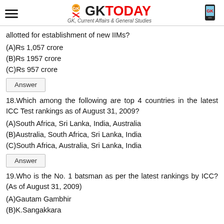GK TODAY — GK, Current Affairs & General Studies
allotted for establishment of new IIMs?
(A)Rs 1,057 crore
(B)Rs 1957 crore
(C)Rs 957 crore
Answer
18.Which among the following are top 4 countries in the latest ICC Test rankings as of August 31, 2009?
(A)South Africa, Sri Lanka, India, Australia
(B)Australia, South Africa, Sri Lanka, India
(C)South Africa, Australia, Sri Lanka, India
Answer
19.Who is the No. 1 batsman as per the latest rankings by ICC? (As of August 31, 2009)
(A)Gautam Gambhir
(B)K.Sangakkara